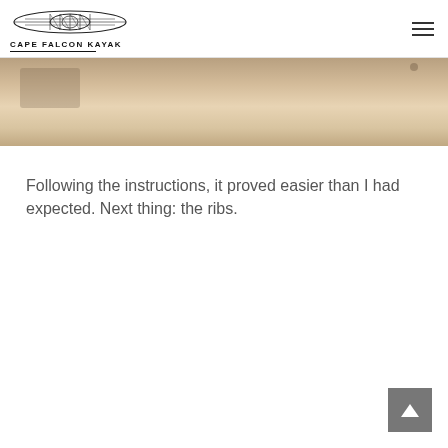CAPE FALCON KAYAK
[Figure (photo): Close-up photo of woodworking or kayak building materials on a light surface]
Following the instructions, it proved easier than I had expected. Next thing: the ribs.